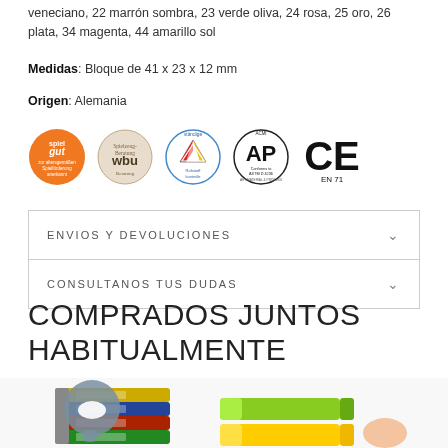veneciano, 22 marrón sombra, 23 verde oliva, 24 rosa, 25 oro, 26 plata, 34 magenta, 44 amarillo sol
Medidas: Bloque de 41 x 23 x 12 mm
Origen: Alemania
[Figure (logo): Row of 5 certification logos: Spiel gut (orange circle), wbu (beige circle), ständige Rohstoffkontrolle (blue triangle multicolor), AP ACMI (black circle), CE EN 71 (black letters)]
ENVIOS Y DEVOLUCIONES
CONSULTANOS TUS DUDAS
COMPRADOS JUNTOS HABITUALMENTE
[Figure (photo): Product photos: stacked colorful crayons on left, individual crayons on right, partial hand visible on far right]